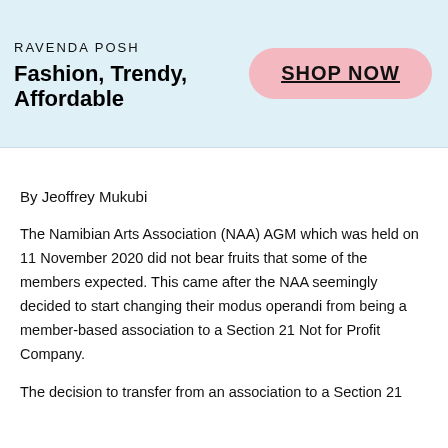[Figure (infographic): Advertisement banner for Ravenda Posh fashion brand with light blue background. Shows brand name 'RAVENDA POSH', tagline 'Fashion, Trendy, Affordable' on the left and a pink pill-shaped 'SHOP NOW' button on the right.]
By Jeoffrey Mukubi
The Namibian Arts Association (NAA) AGM which was held on 11 November 2020 did not bear fruits that some of the members expected. This came after the NAA seemingly decided to start changing their modus operandi from being a member-based association to a Section 21 Not for Profit Company.
The decision to transfer from an association to a Section 21